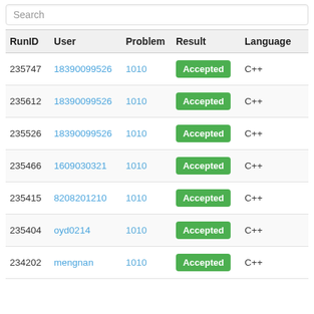| RunID | User | Problem | Result | Language |
| --- | --- | --- | --- | --- |
| 235747 | 18390099526 | 1010 | Accepted | C++ |
| 235612 | 18390099526 | 1010 | Accepted | C++ |
| 235526 | 18390099526 | 1010 | Accepted | C++ |
| 235466 | 1609030321 | 1010 | Accepted | C++ |
| 235415 | 8208201210 | 1010 | Accepted | C++ |
| 235404 | oyd0214 | 1010 | Accepted | C++ |
| 234202 | mengnan | 1010 | Accepted | C++ |